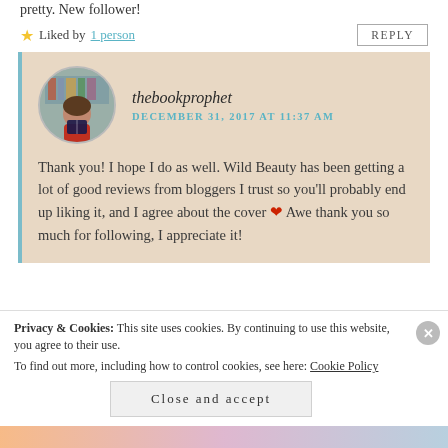pretty. New follower!
★ Liked by 1 person
REPLY
thebookprophet
DECEMBER 31, 2017 AT 11:37 AM
Thank you! I hope I do as well. Wild Beauty has been getting a lot of good reviews from bloggers I trust so you'll probably end up liking it, and I agree about the cover ❤ Awe thank you so much for following, I appreciate it!
Privacy & Cookies: This site uses cookies. By continuing to use this website, you agree to their use. To find out more, including how to control cookies, see here: Cookie Policy
Close and accept